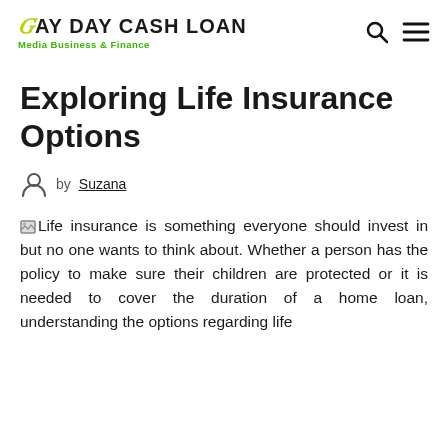JAY DAY CASH LOAN Media Business & Finance
Exploring Life Insurance Options
by Suzana
Life insurance is something everyone should invest in but no one wants to think about. Whether a person has the policy to make sure their children are protected or it is needed to cover the duration of a home loan, understanding the options regarding life